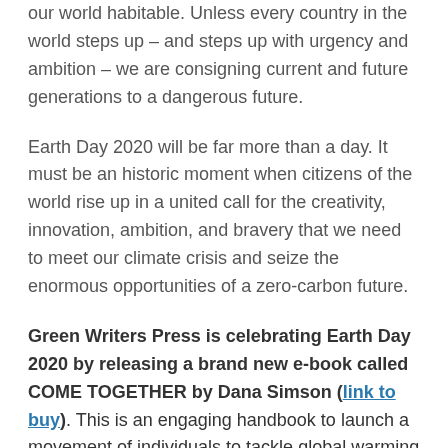our world habitable. Unless every country in the world steps up – and steps up with urgency and ambition – we are consigning current and future generations to a dangerous future.
Earth Day 2020 will be far more than a day. It must be an historic moment when citizens of the world rise up in a united call for the creativity, innovation, ambition, and bravery that we need to meet our climate crisis and seize the enormous opportunities of a zero-carbon future.
Green Writers Press is celebrating Earth Day 2020 by releasing a brand new e-book called COME TOGETHER by Dana Simson (link to buy). This is an engaging handbook to launch a movement of individuals to tackle global warming by simply retooling our daily actions. Easy proactive steps develop a long term perspective